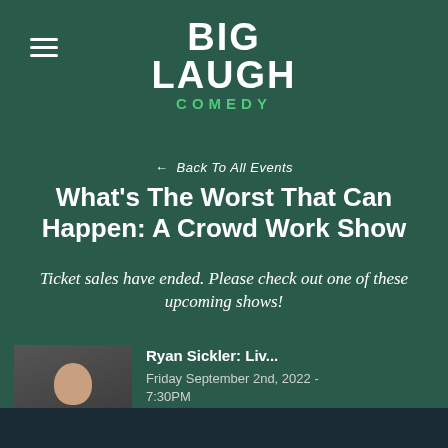[Figure (logo): Big Laugh Comedy logo with BIG LAUGH in white bold text and COMEDY in green text below]
← Back To All Events
What's The Worst That Can Happen: A Crowd Work Show
Ticket sales have ended. Please check out one of these upcoming shows!
[Figure (photo): Headshot photo of Ryan Sickler, a man in a suit with a serious expression, with a red LIVE IN FT WORTH banner at the bottom]
Ryan Sickler: Liv...
Friday September 2nd, 2022 - 7:30PM